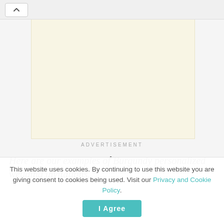[Figure (other): Advertisement placeholder — cream/beige colored rectangle representing an ad unit with a collapse chevron button above it]
ADVERTISEMENT
Here are our examples of Burgundy personalized wedding invitations.
This website uses cookies. By continuing to use this website you are giving consent to cookies being used. Visit our Privacy and Cookie Policy.
I Agree